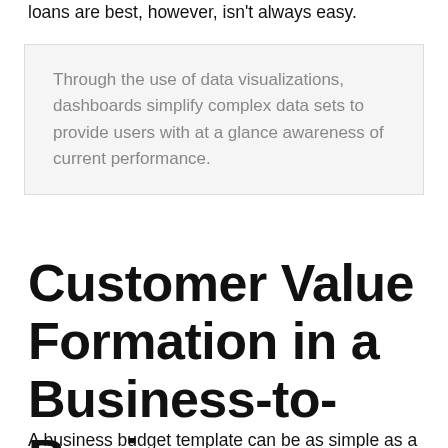loans are best, however, isn't always easy.
Through the use of data visualizations, dashboards simplify complex data sets to provide users with at a glance awareness of current performance.
Customer Value Formation in a Business-to-Business Setting
A business budget template can be as simple as a